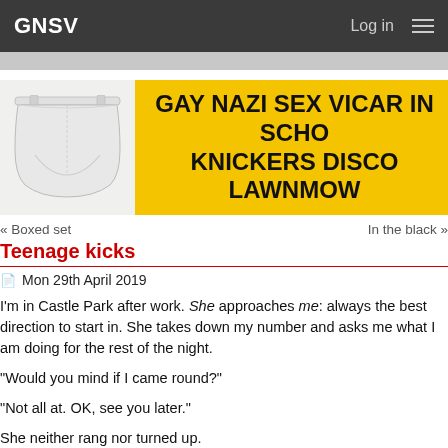GNSV   Log in
[Figure (illustration): Website banner with yellow background showing a photo of white underwear/knickers on the left, and bold black uppercase text on the right reading: GAY NAZI SEX VICAR IN SCHO... KNICKERS DISCO LAWNMOW...]
« Boxed set    In the black »
Teenage kicks
Mon 29th April 2019
I'm in Castle Park after work. She approaches me: always the best direction to start in. She takes down my number and asks me what I am doing for the rest of the night.
"Would you mind if I came round?"
"Not all at. OK, see you later."
She neither rang nor turned up.
Three people are playing frisbee nearby; its gliding arc is synaesthetic